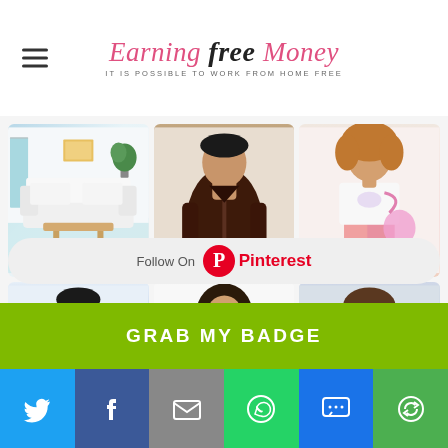Earning Free Money - IT IS POSSIBLE TO WORK FROM HOME FREE
[Figure (screenshot): Pinterest image grid showing 6 fashion/home photos: white sofa room, woman in dark jacket, young girl in pink outfit, boy in blue North Face jacket, woman in white top with crossbody bag, woman in striped shirt with sunglasses]
Follow On Pinterest
GRAB MY BADGE
[Figure (infographic): Social sharing bar with Twitter, Facebook, Email, WhatsApp, SMS, and Share buttons]